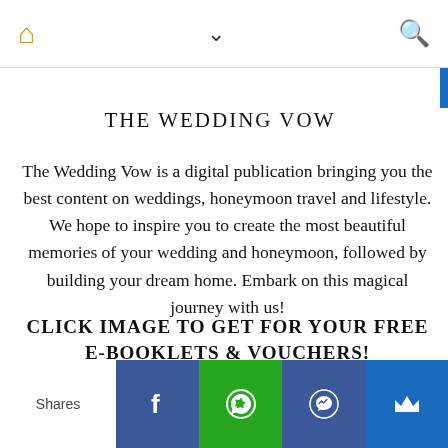Navigation bar with home icon, chevron dropdown, and search icon
THE WEDDING VOW
The Wedding Vow is a digital publication bringing you the best content on weddings, honeymoon travel and lifestyle. We hope to inspire you to create the most beautiful memories of your wedding and honeymoon, followed by building your dream home. Embark on this magical journey with us!
CLICK IMAGE TO GET FOR YOUR FREE E-BOOKLETS & VOUCHERS!
Shares — social sharing bar: Facebook, WhatsApp, Messenger, Crown